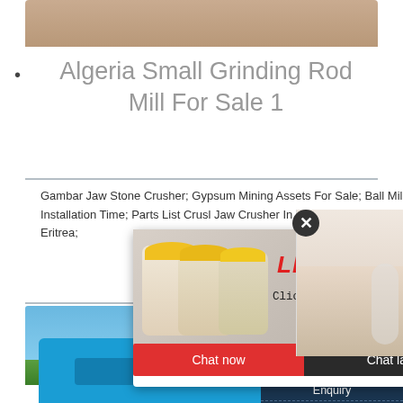[Figure (photo): Top strip showing sandy/earth-toned surface, partial view]
Algeria Small Grinding Rod Mill For Sale 1
Gambar Jaw Stone Crusher; Gypsum Mining Assets For Sale; Ball Milling Equipment Installation Time; Parts List Crusl Jaw Crusher In Tagum; Gypsum Plaster Clc Blocks; In Eritrea;
[Figure (photo): Live Chat popup overlay with workers in hard hats, customer service representative with headset, Chat now and Chat later buttons]
[Figure (photo): Bottom image showing blue sky, green landscape, and blue heavy machinery/crusher equipment]
ave any requests, click here.
Quotation
Enquiry
limingjlmofen@sina.com